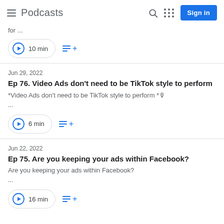Podcasts
for ...
10 min
Jun 29, 2022
Ep 76. Video Ads don't need to be TikTok style to perform
*Video Ads don't need to be TikTok style to perform *🎙
...
6 min
Jun 22, 2022
Ep 75. Are you keeping your ads within Facebook?
Are you keeping your ads within Facebook?
...
16 min